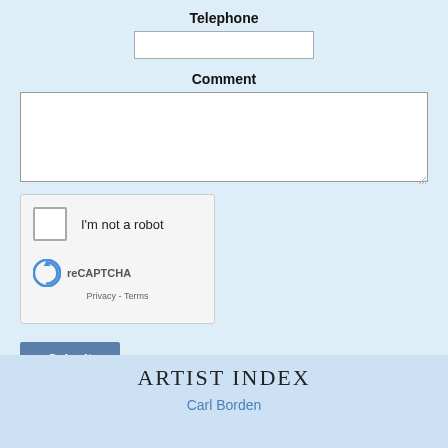Telephone
[Figure (screenshot): Text input field for telephone number, white rectangle with border]
Comment
[Figure (screenshot): Large textarea for comment input, white rectangle with border and resize handle]
[Figure (screenshot): reCAPTCHA widget with checkbox labeled I'm not a robot, reCAPTCHA logo, Privacy and Terms links]
[Figure (screenshot): Submit button, blue-gray background with white bold text]
ARTIST INDEX
Carl Borden